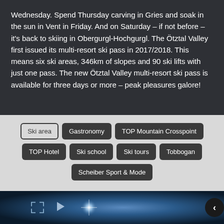Wednesday. Spend Thursday carving in Gries and soak in the sun in Vent in Friday. And on Saturday – if not before – it's back to skiing in Obergurgl-Hochgurgl. The Ötztal Valley first issued its multi-resort ski pass in 2017/2018. This means six ski areas, 346km of slopes and 90 ski lifts with just one pass. The new Ötztal Valley multi-resort ski pass is available for three days or more – peak pleasures galore!
Ski area
Gastronomy
TOP Mountain Crosspoint
TOP Hotel
Ski school
Ski tours
Tobbogan
Scheiber Sport & Mode
[Figure (photo): Video player thumbnail showing a bright light/star effect on a dark blue background with expand icon, play button, and right navigation arrow]